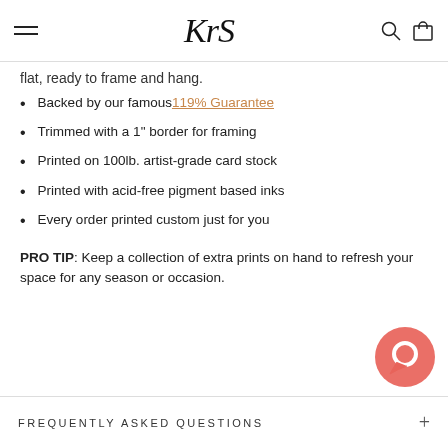KRS logo with hamburger menu, search and cart icons
flat, ready to frame and hang.
Backed by our famous 119% Guarantee
Trimmed with a 1" border for framing
Printed on 100lb. artist-grade card stock
Printed with acid-free pigment based inks
Every order printed custom just for you
PRO TIP: Keep a collection of extra prints on hand to refresh your space for any season or occasion.
FREQUENTLY ASKED QUESTIONS